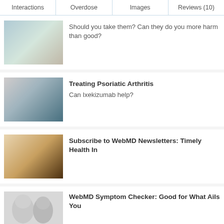Interactions | Overdose | Images | Reviews (10)
[Figure (photo): Hands holding pills]
Should you take them? Can they do you more harm than good?
[Figure (photo): Doctor with patient]
Treating Psoriatic Arthritis
Can Ixekizumab help?
[Figure (photo): Person using tablet device]
Subscribe to WebMD Newsletters: Timely Health In
[Figure (illustration): 3D human head models]
WebMD Symptom Checker: Good for What Ails You
ADVERTISEMENT